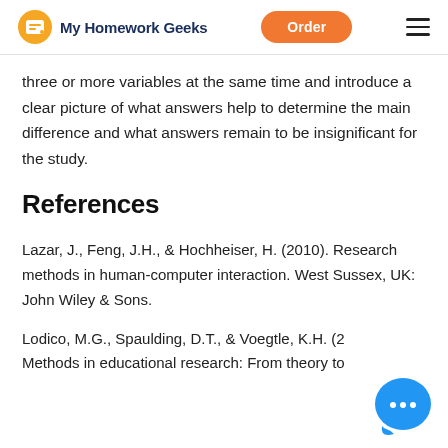My Homework Geeks | Order
three or more variables at the same time and introduce a clear picture of what answers help to determine the main difference and what answers remain to be insignificant for the study.
References
Lazar, J., Feng, J.H., & Hochheiser, H. (2010). Research methods in human-computer interaction. West Sussex, UK: John Wiley & Sons.
Lodico, M.G., Spaulding, D.T., & Voegtle, K.H. (2... Methods in educational research: From theory to